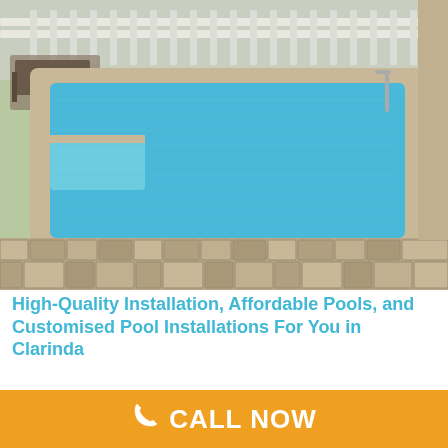[Figure (photo): Outdoor rectangular swimming pool with blue water, surrounded by tan/beige brick paver patio, white picket fence in background, lounge chairs visible on left side.]
High-Quality Installation, Affordable Pools, and Customised Pool Installations For You in Clarinda
Picture this. It's a blistering 29 degrees, you've got
CALL NOW